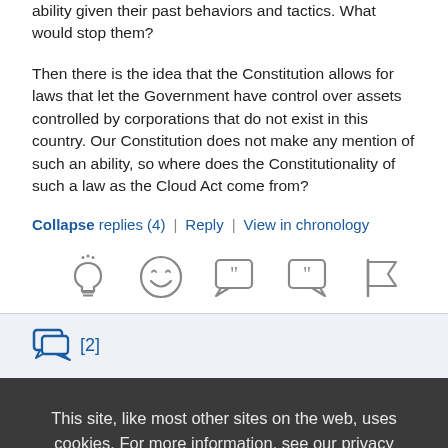ability given their past behaviors and tactics. What would stop them?
Then there is the idea that the Constitution allows for laws that let the Government have control over assets controlled by corporations that do not exist in this country. Our Constitution does not make any mention of such an ability, so where does the Constitutionality of such a law as the Cloud Act come from?
Collapse replies (4) | Reply | View in chronology
[Figure (infographic): Row of 5 icons: lightbulb, laugh emoji, open-quote speech bubble, close-quote speech bubble, flag]
[2]
This site, like most other sites on the web, uses cookies. For more information, see our privacy policy
GOT IT